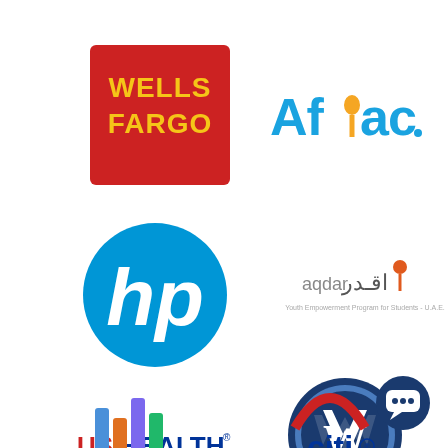[Figure (logo): Wells Fargo logo: red square background with WELLS FARGO text in yellow]
[Figure (logo): Aflac logo: blue text with duck silhouette]
[Figure (logo): HP logo: blue circle with white hp script]
[Figure (logo): aqdar logo: Arabic and English text with stylized figure]
[Figure (logo): USHEALTH GROUP logo: red and blue text]
[Figure (logo): Volkswagen Ticari Arac logo: VW emblem with text below]
[Figure (logo): Partial logo bottom left: colorful vertical bars]
[Figure (logo): Partial Citi logo bottom right: red arc]